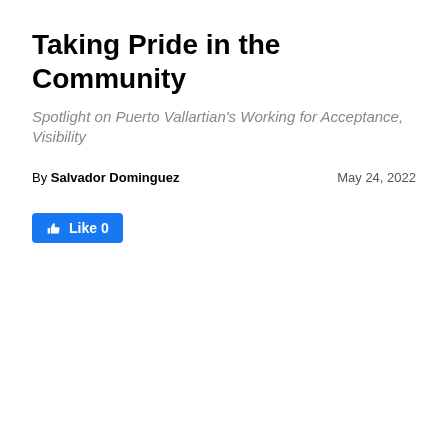Taking Pride in the Community
Spotlight on Puerto Vallartian's Working for Acceptance, Visibility
By Salvador Dominguez    May 24, 2022
[Figure (other): Facebook Like button showing thumbs up icon and 'Like 0' text on blue background]